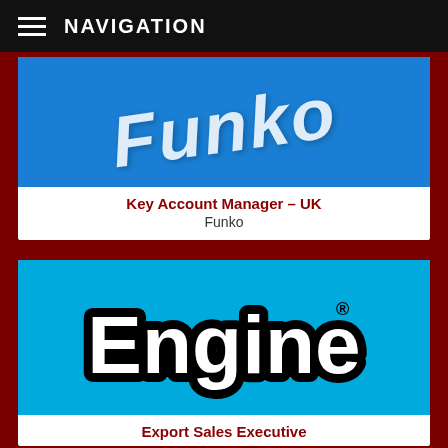NAVIGATION
[Figure (logo): Blue background with white italic stylized text logo (Funko brand), partially cropped]
Key Account Manager – UK
Funko
[Figure (logo): Cyan/light blue background with Engine brand logo in black bubble letters with white fill]
Export Sales Executive